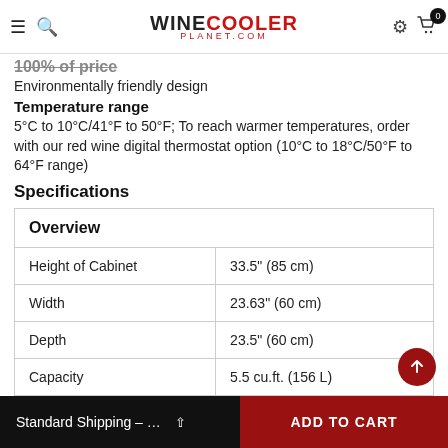WINECOOLER PLANET.COM
100% of price (strikethrough text)
Environmentally friendly design
Temperature range
5°C to 10°C/41°F to 50°F; To reach warmer temperatures, order with our red wine digital thermostat option (10°C to 18°C/50°F to 64°F range)
Specifications
| Overview |  |
| --- | --- |
| Height of Cabinet | 33.5" (85 cm) |
| Width | 23.63" (60 cm) |
| Depth | 23.5" (60 cm) |
| Capacity | 5.5 cu.ft. (156 L) |
Standard Shipping – ...   ADD TO CART